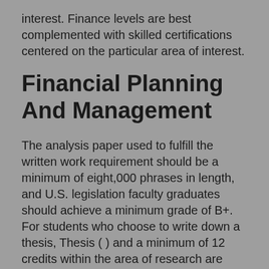interest. Finance levels are best complemented with skilled certifications centered on the particular area of interest.
Financial Planning And Management
The analysis paper used to fulfill the written work requirement should be a minimum of eight,000 phrases in length, and U.S. legislation faculty graduates should achieve a minimum grade of B+. For students who choose to write down a thesis, Thesis ( ) and a minimum of 12 credits within the area of research are required. The Office of Business and Finance is devoted to advance the missions and objectives of Western Michigan University via effective fiscal business practices and a broad variety of administrative